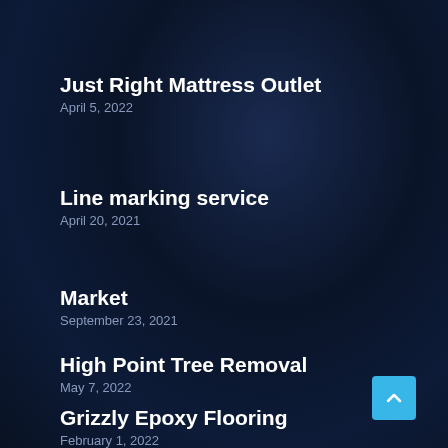Just Right Mattress Outlet
April 5, 2022
Line marking service
April 20, 2021
Market
September 23, 2021
High Point Tree Removal
May 7, 2022
Grizzly Epoxy Flooring
February 1, 2022